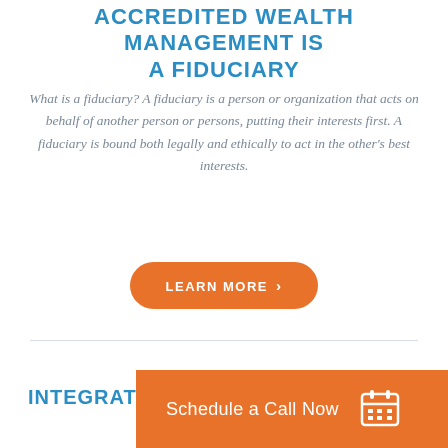ACCREDITED WEALTH MANAGEMENT IS A FIDUCIARY
What is a fiduciary?  A fiduciary is a person or organization that acts on behalf of another person or persons, putting their interests first. A fiduciary is bound both legally and ethically to act in the other's best interests.
[Figure (other): Orange rounded button with text LEARN MORE and a right-pointing chevron arrow]
INTEGRAT
[Figure (other): Orange banner/callout with text 'Schedule a Call Now' and a calendar icon on the right]